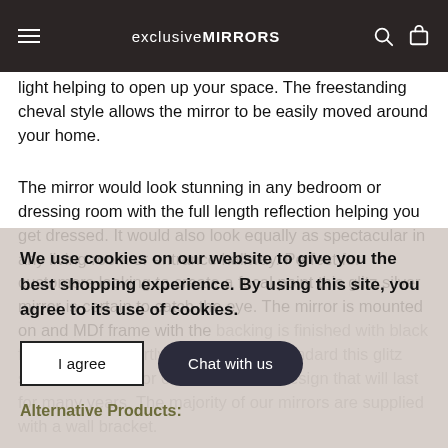exclusiveMIRRORS
light helping to open up your space. The freestanding cheval style allows the mirror to be easily moved around your home.
The mirror would look stunning in any bedroom or dressing room with the full length reflection helping you get dressed. It would also look equally as spectacular in any living room or entrance hallway. Perfect for customers looking to create a focal point this glitz silver mirror is certain to catch the eye. The mirror is mounted on and MDf frame with the backing is finished with black felt. Crafted expertly to a very high standard this glitz silver cheval mirror offers a durable design that will last for many years. The majority of our mirrors are supplied with a wall bracket.
We use cookies on our website to give you the best shopping experience. By using this site, you agree to its use of cookies.
Alternative Products: